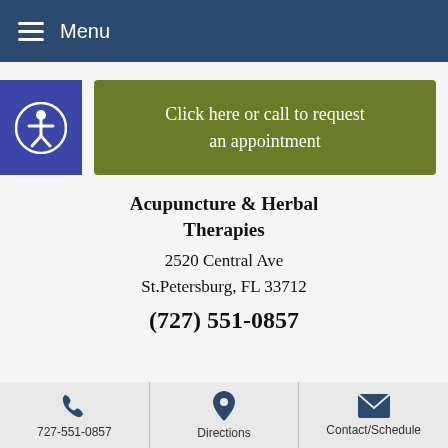Menu
[Figure (other): Accessibility icon button (person in circle) on blue background]
Click here or call to request an appointment
Acupuncture & Herbal Therapies
2520 Central Ave
St.Petersburg, FL 33712
(727) 551-0857
727-551-0857 | Directions | Contact/Schedule